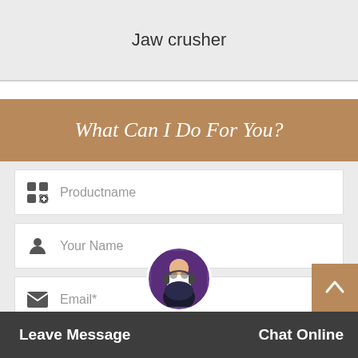Jaw crusher
What Can I Do For You?
Productname
Your Name
Email*
Leave Message   Chat Online